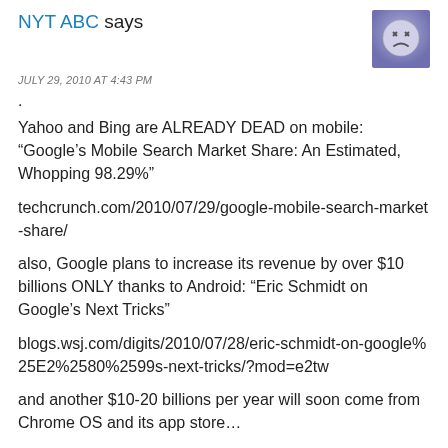NYT ABC says
JULY 29, 2010 AT 4:43 PM
.
Yahoo and Bing are ALREADY DEAD on mobile: “Google’s Mobile Search Market Share: An Estimated, Whopping 98.29%”
techcrunch.com/2010/07/29/google-mobile-search-market-share/
also, Google plans to increase its revenue by over $10 billions ONLY thanks to Android: “Eric Schmidt on Google’s Next Tricks”
blogs.wsj.com/digits/2010/07/28/eric-schmidt-on-google%25E2%2580%2599s-next-tricks/?mod=e2tw
and another $10-20 billions per year will soon come from Chrome OS and its app store…